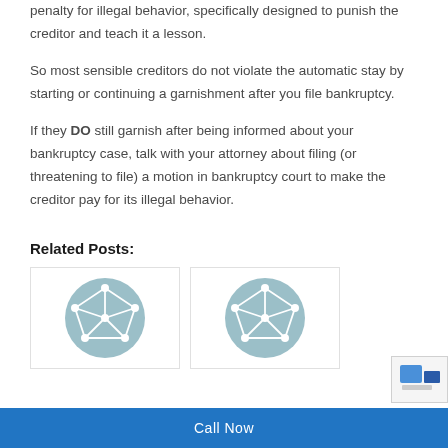penalty for illegal behavior, specifically designed to punish the creditor and teach it a lesson.
So most sensible creditors do not violate the automatic stay by starting or continuing a garnishment after you file bankruptcy.
If they DO still garnish after being informed about your bankruptcy case, talk with your attorney about filing (or threatening to file) a motion in bankruptcy court to make the creditor pay for its illegal behavior.
Related Posts:
[Figure (illustration): Card with circular teal icon featuring a geometric network/law icon]
[Figure (illustration): Card with circular teal icon featuring a geometric network/law icon]
Call Now